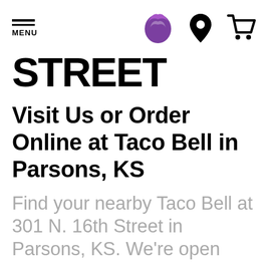MENU [Taco Bell logo] [location icon] [cart icon]
STREET
Visit Us or Order Online at Taco Bell in Parsons, KS
Find your nearby Taco Bell at 301 N. 16th Street in Parsons, KS. We're open